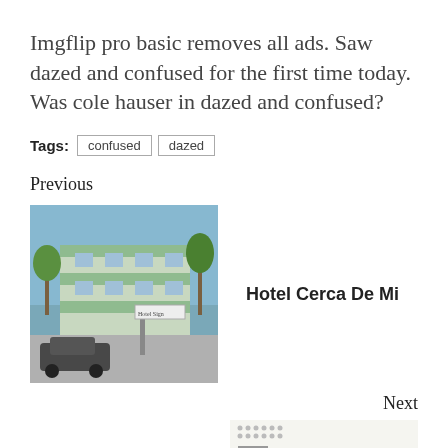Imgflip pro basic removes all ads. Saw dazed and confused for the first time today. Was cole hauser in dazed and confused?
Tags: confused dazed
Previous
[Figure (photo): Photo of a motel building with palm trees and a car in front, blue sky background]
Hotel Cerca De Mi
Next
Dearly Beloved Guitar Tutorial
[Figure (screenshot): Small thumbnail of guitar sheet music or tutorial document with a yellow scroll-to-top button]